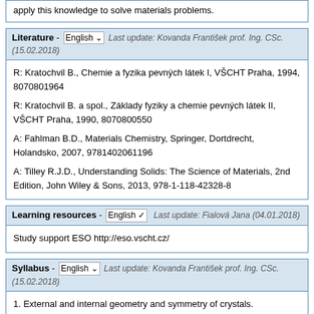apply this knowledge to solve materials problems.
Literature - English  Last update: Kovanda František prof. Ing. CSc. (15.02.2018)
R: Kratochvil B., Chemie a fyzika pevných látek I, VŠCHT Praha, 1994, 8070801964
R: Kratochvil B. a spol., Základy fyziky a chemie pevných látek II, VŠCHT Praha, 1990, 8070800550
A: Fahlman B.D., Materials Chemistry, Springer, Dortdrecht, Holandsko, 2007, 9781402061196
A: Tilley R.J.D., Understanding Solids: The Science of Materials, 2nd Edition, John Wiley & Sons, 2013, 978-1-118-42328-8
Learning resources - English  Last update: Fialová Jana (04.01.2018)
Study support ESO http://eso.vscht.cz/
Syllabus - English  Last update: Kovanda František prof. Ing. CSc. (15.02.2018)
1. External and internal geometry and symmetry of crystals.
2. X-ray diffraction, structure analysis of crystalline solids.